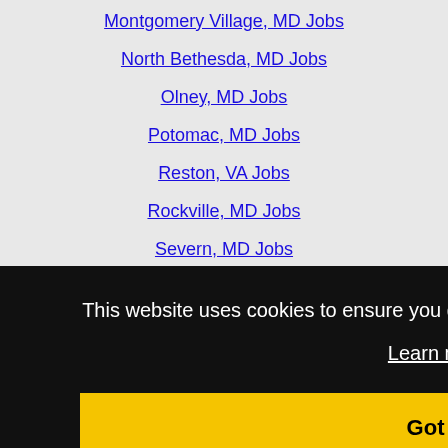Montgomery Village, MD Jobs
North Bethesda, MD Jobs
Olney, MD Jobs
Potomac, MD Jobs
Reston, VA Jobs
Rockville, MD Jobs
Severn, MD Jobs
Silver Spring, MD Jobs
Sterling, VA Jobs
Towson, MD Jobs (truncated)
This website uses cookies to ensure you get the best experience on our website.
Learn more
Got it!